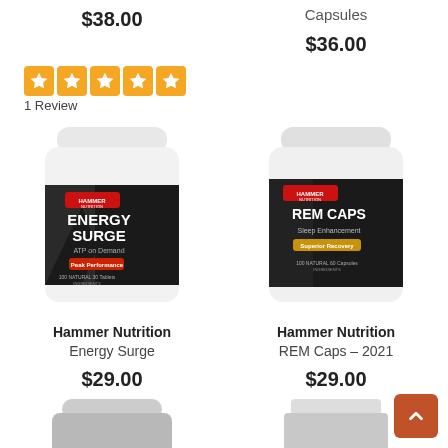Capsules
$38.00
$36.00
[Figure (other): Five orange star rating icons in a row]
1 Review
[Figure (photo): Hammer Nutrition Energy Surge supplement bottle, white with label showing ENERGY SURGE ATP on Demand, Peak Performance, 100 Natural Ingredients, 30 Tablets]
[Figure (photo): Hammer Nutrition REM Caps Sleep Enhancement supplement bottle, white with label showing REM CAPS Sleep Enhancement, Superior Recovery, 100 Natural Ingredients, 60 Capsules]
Hammer Nutrition
Energy Surge
Hammer Nutrition
REM Caps - 2021
$29.00
$29.00
[Figure (photo): Bottom portion of a supplement bottle cap visible at bottom left]
[Figure (photo): Bottom portion of a supplement bottle cap visible at bottom right]